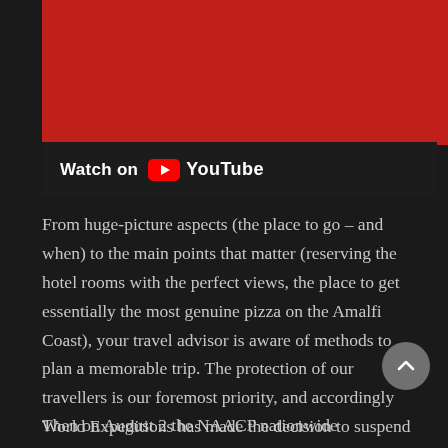[Figure (screenshot): YouTube video thumbnail with red background and 'Watch on YouTube' bar below it]
From huge-picture aspects (the place to go – and when) to the main points that matter (reserving the hotel rooms with the perfect views, the place to get essentially the most genuine pizza on the Amalfi Coast), your travel advisor is aware of methods to plan a memorable trip. The protection of our travellers is our foremost priority, and accordingly World Expeditions has made the decision to suspend journeys to Venezuela in the interim as a result of ongoing security issues.
Then on August 2 the NAACP nationwide